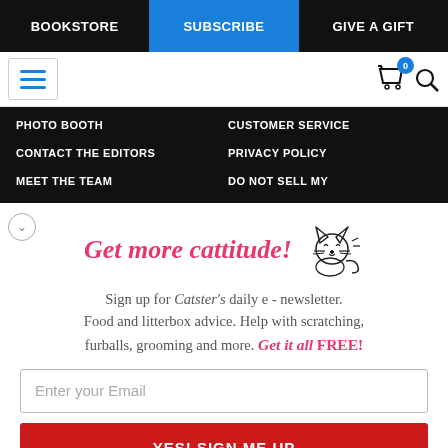BOOKSTORE | SUBSCRIBE | GIVE A GIFT
PHOTO BOOTH
CUSTOMER SERVICE
CONTACT THE EDITORS
PRIVACY POLICY
MEET THE TEAM
DO NOT SELL MY
Get more cattitude!
[Figure (illustration): Simple line drawing of a smiling cat with whiskers and a curled tail]
Sign up for Catster's daily e - newsletter. Food and litterbox advice. Help with scratching, furballs, grooming and more. Get it all FREE!
Enter your Email
YES! SIGN ME UP